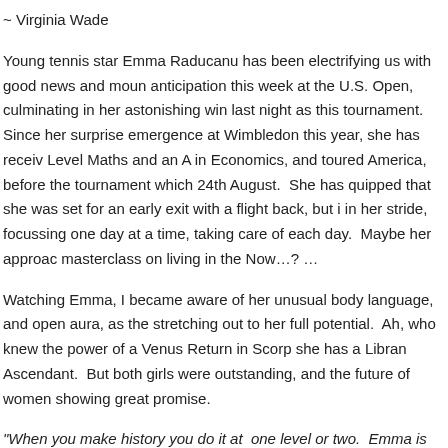~ Virginia Wade
Young tennis star Emma Raducanu has been electrifying us with good news and mounting anticipation this week at the U.S. Open, culminating in her astonishing win last night as this tournament.  Since her surprise emergence at Wimbledon this year, she has received Level Maths and an A in Economics, and toured America, before the tournament which 24th August.  She has quipped that she was set for an early exit with a flight back, but in her stride, focussing one day at a time, taking care of each day.  Maybe her approach masterclass on living in the Now…? …
Watching Emma, I became aware of her unusual body language, and open aura, as the stretching out to her full potential.  Ah, who knew the power of a Venus Return in Scorp she has a Libran Ascendant.  But both girls were outstanding, and the future of women showing great promise.
"When you make history you do it at  one level or two.  Emma is doing it at so many.  W hyping her but it's happening.  She's backing it all up."
~ Martina Navratilova
October
31st: